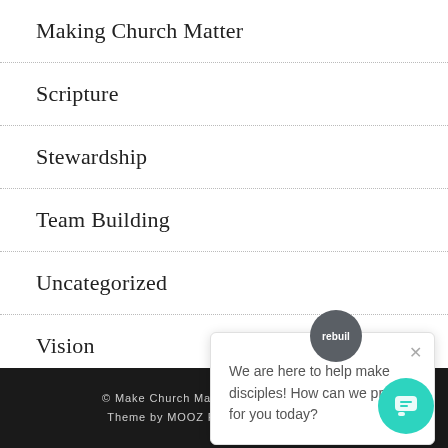Making Church Matter
Scripture
Stewardship
Team Building
Uncategorized
Vision
What's new at Nativity
[Figure (screenshot): Chat popup overlay with rebuild avatar and message: We are here to help make disciples! How can we pray for you today?]
© Make Church Matter. All rights reserved. Theme by MOOZ Powered by WordPress